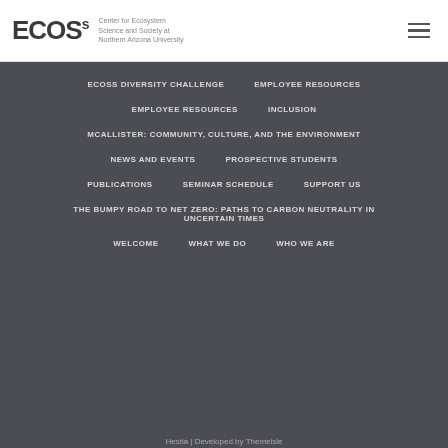[Figure (logo): ECOSs logo with text: Center for Ecosystem Science and Society at Northern Arizona University]
ECOSS DIVERSITY CHALLENGE
EMPLOYEE RESOURCES
EMPLOYEE RESOURCES
INCLUSION
MCALLISTER: COMMUNITY, CULTURE, AND THE ENVIRONMENT
NEWS AND EVENTS
PROSPECTIVE STUDENTS
PUBLICATIONS
SEMINAR SCHEDULE
SUPPORT US
THE BUMPY ROAD TO NET ZERO: PATHS TO CARBON NEUTRALITY IN UNCERTAIN TIMES
WELCOME
WHAT WE DO
WHO WE ARE
Hestia | Developed by Themeisle